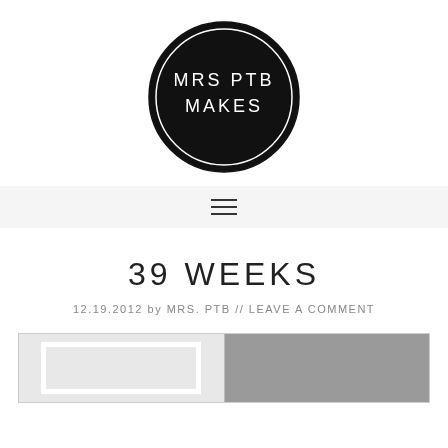[Figure (logo): Black circle logo with white text reading 'MRS PTB MAKES']
≡
39 WEEKS
12.19.2012 by MRS. PTB // LEAVE A COMMENT
[Figure (photo): Partial image showing two panels: left panel with white framed cabinet door, right panel with grey surface]